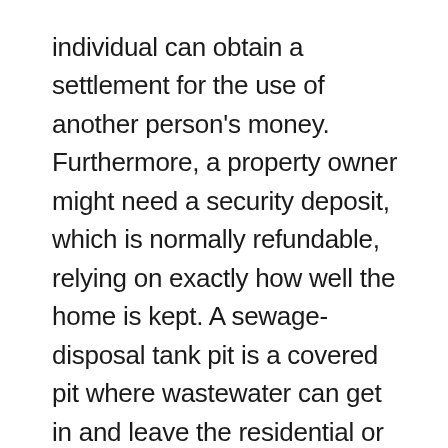individual can obtain a settlement for the use of another person's money. Furthermore, a property owner might need a security deposit, which is normally refundable, relying on exactly how well the home is kept. A sewage-disposal tank pit is a covered pit where wastewater can get in and leave the residential or commercial property. A freehold estate does not need a septic tank pit.
Residential property consists of properties purchased for individual usage and also to rent to others. Residential realty includes single-family houses and condos. Townhouses as well